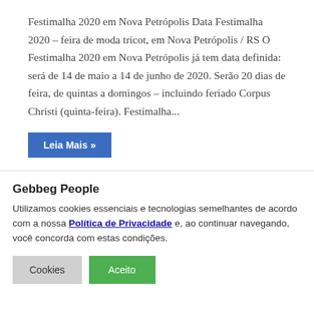Festimalha 2020 em Nova Petrópolis Data Festimalha 2020 – feira de moda tricot, em Nova Petrópolis / RS O Festimalha 2020 em Nova Petrópolis já tem data definida: será de 14 de maio a 14 de junho de 2020. Serão 20 dias de feira, de quintas a domingos – incluindo feriado Corpus Christi (quinta-feira). Festimalha...
Leia Mais »
Gebbeg People
Utilizamos cookies essenciais e tecnologias semelhantes de acordo com a nossa Política de Privacidade e, ao continuar navegando, você concorda com estas condições.
Cookies | Aceito